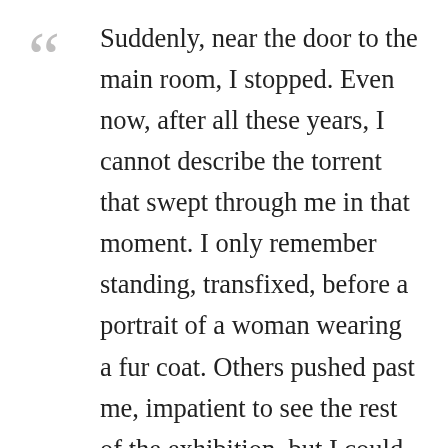Suddenly, near the door to the main room, I stopped. Even now, after all these years, I cannot describe the torrent that swept through me in that moment. I only remember standing, transfixed, before a portrait of a woman wearing a fur coat. Others pushed past me, impatient to see the rest of the exhibition, but I could not move. What was it about that portrait? I know that words alone will not suffice. All I can say is that she